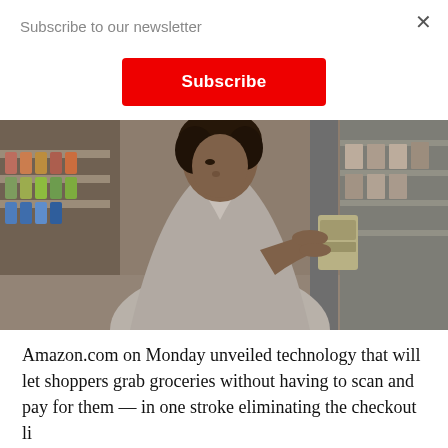×
Subscribe to our newsletter
Subscribe
[Figure (photo): Woman in a gray coat standing in a grocery store aisle, reading the label on a product she is holding. Store shelves with products visible in the background.]
Amazon.com on Monday unveiled technology that will let shoppers grab groceries without having to scan and pay for them — in one stroke eliminating the checkout li...